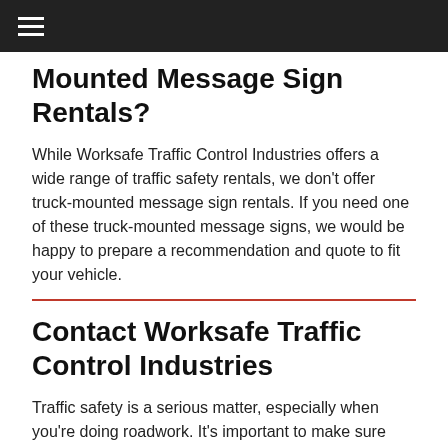≡
Mounted Message Sign Rentals?
While Worksafe Traffic Control Industries offers a wide range of traffic safety rentals, we don't offer truck-mounted message sign rentals. If you need one of these truck-mounted message signs, we would be happy to prepare a recommendation and quote to fit your vehicle.
Contact Worksafe Traffic Control Industries
Traffic safety is a serious matter, especially when you're doing roadwork. It's important to make sure drivers know when they're going to run into roadwork, which is why you need signage to clearly communicate with drivers. Worksafe Traffic Control Industries can help you take care